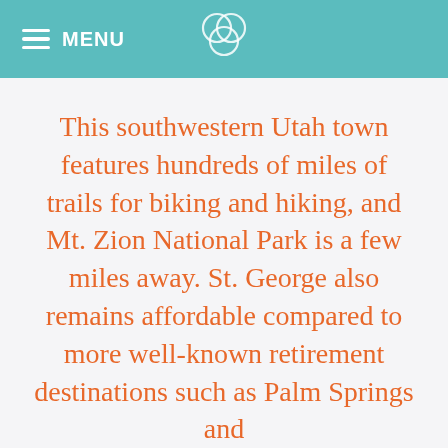MENU
This southwestern Utah town features hundreds of miles of trails for biking and hiking, and Mt. Zion National Park is a few miles away. St. George also remains affordable compared to more well-known retirement destinations such as Palm Springs and